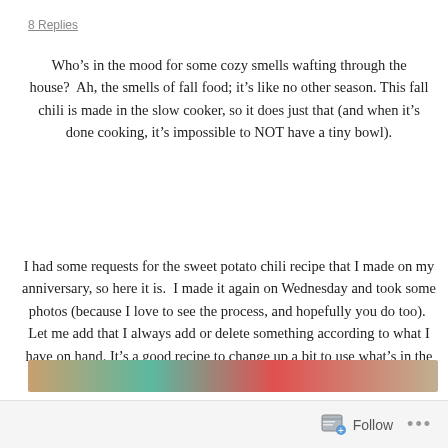8 Replies
Who’s in the mood for some cozy smells wafting through the house?  Ah, the smells of fall food; it’s like no other season.  This fall chili is made in the slow cooker, so it does just that (and when it’s done cooking, it’s impossible to NOT have a tiny bowl).
I had some requests for the sweet potato chili recipe that I made on my anniversary, so here it is.  I made it again on Wednesday and took some photos (because I love to see the process, and hopefully you do too).  Let me add that I always add or delete something according to what I have on hand.  It’s a good recipe to change up a bit to use what’s in the pantry and to suit your taste.
[Figure (photo): Partial view of food photos strip at bottom of page]
Follow